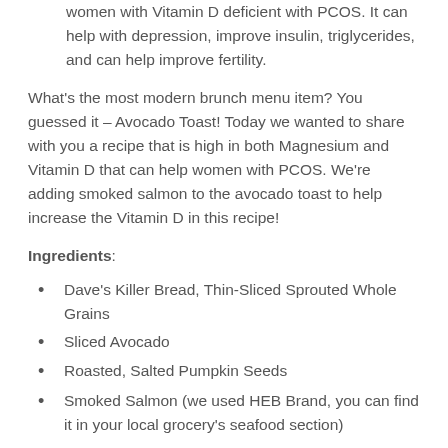women with Vitamin D deficient with PCOS. It can help with depression, improve insulin, triglycerides, and can help improve fertility.
What’s the most modern brunch menu item? You guessed it – Avocado Toast! Today we wanted to share with you a recipe that is high in both Magnesium and Vitamin D that can help women with PCOS. We’re adding smoked salmon to the avocado toast to help increase the Vitamin D in this recipe!
Ingredients:
Dave’s Killer Bread, Thin-Sliced Sprouted Whole Grains
Sliced Avocado
Roasted, Salted Pumpkin Seeds
Smoked Salmon (we used HEB Brand, you can find it in your local grocery’s seafood section)